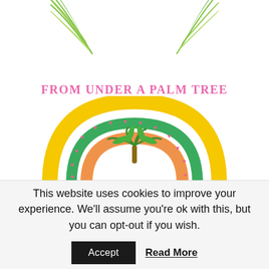[Figure (illustration): Tropical palm fronds with watermelon slice and pineapple decorative header illustration]
From Under a Palm Tree
Printables Shop
Creative & Affordable Printable Worksheets, Games, & More!
TEACH • INSPIRE • MOTIVATE • ENCOURAGE KIDS TO LEARN
[Figure (illustration): Colorful tropical rainbow illustration with yellow outer arc, green arc, orange arc with hatching, pink hearts, and palm tree in center]
This website uses cookies to improve your experience. We'll assume you're ok with this, but you can opt-out if you wish.
Accept   Read More